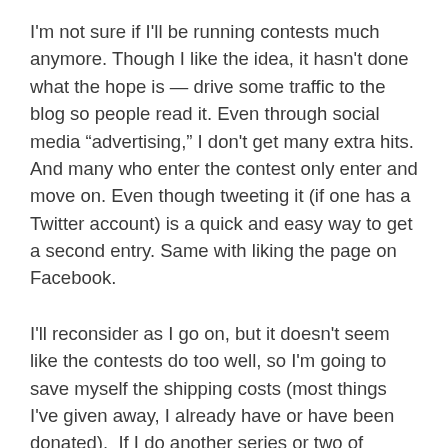I'm not sure if I'll be running contests much anymore. Though I like the idea, it hasn't done what the hope is — drive some traffic to the blog so people read it. Even through social media “advertising,” I don't get many extra hits. And many who enter the contest only enter and move on. Even though tweeting it (if one has a Twitter account) is a quick and easy way to get a second entry. Same with liking the page on Facebook.
I'll reconsider as I go on, but it doesn't seem like the contests do too well, so I'm going to save myself the shipping costs (most things I've given away, I already have or have been donated).  If I do another series or two of stories and somebody gives me something to give away, I'll try again. But for now, I'm not going to have any standalone contests anymore. Which, to be honest, is too bad because I had some cool things (things I have gathered personally over the last year or to like to history or invented) that boys in to me in